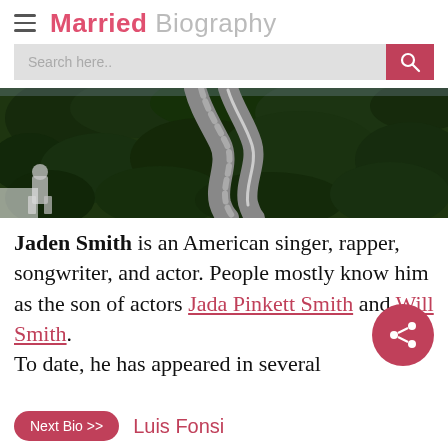Married Biography
[Figure (photo): Aerial photo of a winding road through dense green forest, with a person visible at bottom left]
Jaden Smith is an American singer, rapper, songwriter, and actor. People mostly know him as the son of actors Jada Pinkett Smith and Will Smith. To date, he has appeared in several
Next Bio >> Luis Fonsi